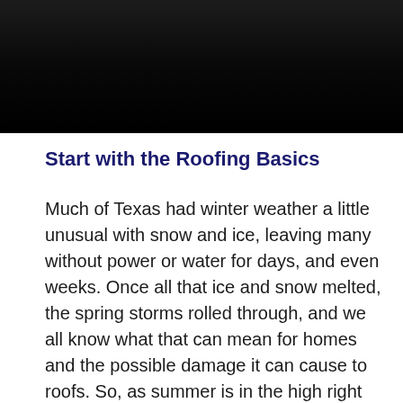[Figure (photo): Dark/black background photo, possibly a nighttime or dark outdoor scene]
Start with the Roofing Basics
Much of Texas had winter weather a little unusual with snow and ice, leaving many without power or water for days, and even weeks. Once all that ice and snow melted, the spring storms rolled through, and we all know what that can mean for homes and the possible damage it can cause to roofs. So, as summer is in the high right now, it is time to get that roof inspected if you haven't already done